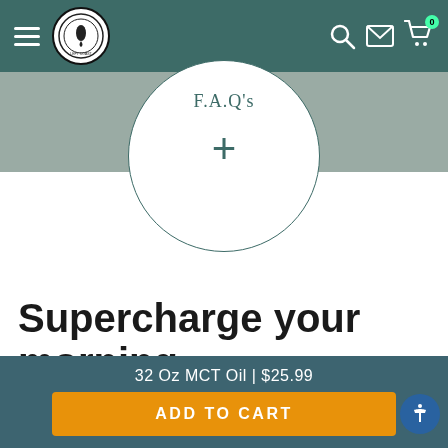Left Coast Performance – navigation header with hamburger menu, logo, search, mail, and cart icons
[Figure (other): FAQ circle button with text 'F.A.Q's' and a plus sign, overlapping a gray horizontal band]
Supercharge your morning
32 Oz MCT Oil | $25.99  ADD TO CART